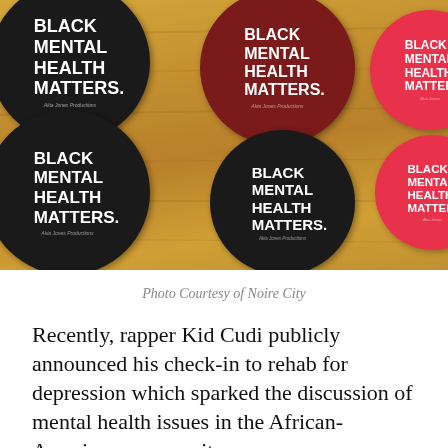[Figure (photo): Multiple circular buttons/pins with text 'BLACK MENTAL HEALTH MATTERS.' in various colors including black, dark red/maroon, pink/red, teal, on a wooden surface]
Photo Courtesy of Noire City
Recently, rapper Kid Cudi publicly announced his check-in to rehab for depression which sparked the discussion of mental health issues in the African-American community.
According to the Health and Human Services Office